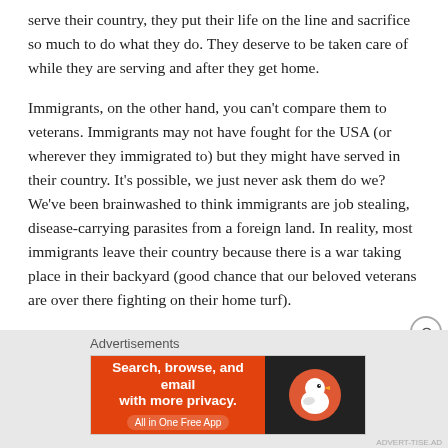serve their country, they put their life on the line and sacrifice so much to do what they do. They deserve to be taken care of while they are serving and after they get home.
Immigrants, on the other hand, you can't compare them to veterans. Immigrants may not have fought for the USA (or wherever they immigrated to) but they might have served in their country. It's possible, we just never ask them do we? We've been brainwashed to think immigrants are job stealing, disease-carrying parasites from a foreign land. In reality, most immigrants leave their country because there is a war taking place in their backyard (good chance that our beloved veterans are over there fighting on their home turf).
Advertisements
[Figure (screenshot): DuckDuckGo advertisement banner: orange left panel with text 'Search, browse, and email with more privacy. All in One Free App' and dark right panel with DuckDuckGo logo]